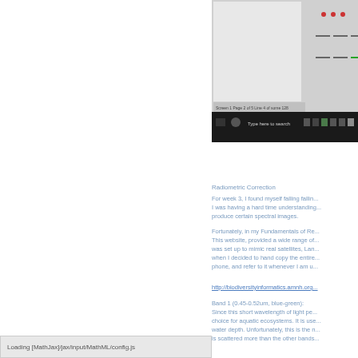[Figure (screenshot): Screenshot of a software application window showing a toolbar and data grid interface, partially cropped at the top of the page]
Radiometric Correction
For week 3, I found myself falling fallin... I was having a hard time understanding... produce certain spectral images.
Fortunately, in my Fundamentals of Re... This website, provided a wide range of... was set up to mimic real satellites, Lan... when I decided to hand copy the entire... phone, and refer to it whenever I am u...
http://biodiversityinformatics.amnh.org...
Band 1 (0.45-0.52um, blue-green): Since this short wavelength of light pe... choice for aquatic ecosystems. It is use... water depth. Unfortunately, this is the n... is scattered more than the other bands...
Loading [MathJax]/jax/input/MathML/config.js